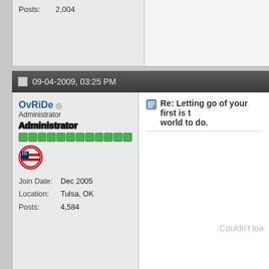Posts: 2,004
09-04-2009, 03:25 PM
OvRiDe
Administrator
Join Date: Dec 2005
Location: Tulsa, OK
Posts: 4,584
Re: Letting go of your first is the hardest thing in the world to do.
Couldn't loa